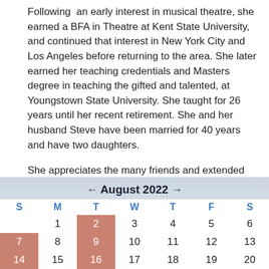Following an early interest in musical theatre, she earned a BFA in Theatre at Kent State University, and continued that interest in New York City and Los Angeles before returning to the area. She later earned her teaching credentials and Masters degree in teaching the gifted and talented, at Youngstown State University. She taught for 26 years until her recent retirement. She and her husband Steve have been married for 40 years and have two daughters.
She appreciates the many friends and extended “family” she has made through her continuing service as Canfield Christian’s Music Director.
| S | M | T | W | T | F | S |
| --- | --- | --- | --- | --- | --- | --- |
|  | 1 | 2 | 3 | 4 | 5 | 6 |
| 7 | 8 | 9 | 10 | 11 | 12 | 13 |
| 14 | 15 | 16 | 17 | 18 | 19 | 20 |